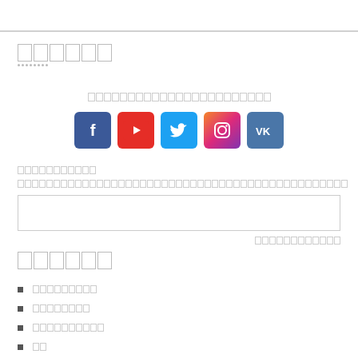██████
█████████████████████████
[Figure (other): Row of social media icons: Facebook, YouTube, Twitter, Instagram, VK]
███████████
████████████████████████████████████████████
████████████
██████
█████████
████████
██████████
██